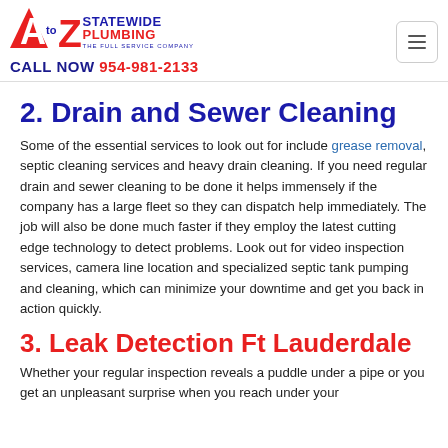A to Z Statewide Plumbing - The Full Service Company - CALL NOW 954-981-2133
2. Drain and Sewer Cleaning
Some of the essential services to look out for include grease removal, septic cleaning services and heavy drain cleaning. If you need regular drain and sewer cleaning to be done it helps immensely if the company has a large fleet so they can dispatch help immediately. The job will also be done much faster if they employ the latest cutting edge technology to detect problems. Look out for video inspection services, camera line location and specialized septic tank pumping and cleaning, which can minimize your downtime and get you back in action quickly.
3. Leak Detection Ft Lauderdale
Whether your regular inspection reveals a puddle under a pipe or you get an unpleasant surprise when you reach under your